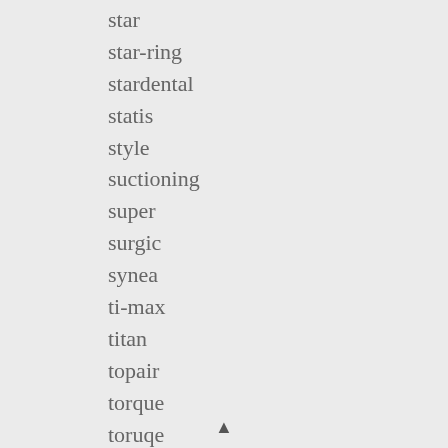star
star-ring
stardental
statis
style
suctioning
super
surgic
synea
ti-max
titan
topair
torque
toruqe
tosi
tr800
▲